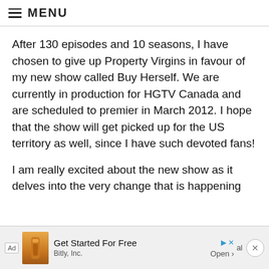≡ MENU
After 130 episodes and 10 seasons, I have chosen to give up Property Virgins in favour of my new show called Buy Herself. We are currently in production for HGTV Canada and are scheduled to premier in March 2012. I hope that the show will get picked up for the US territory as well, since I have such devoted fans!
I am really excited about the new show as it delves into the very change that is happening
[Figure (screenshot): Advertisement banner at bottom: 'Ad' label, orange/brown bottle image, 'Get Started For Free' heading, 'Bitly, Inc.' company name, 'Open >' button, play and close icons, close circle button on right]